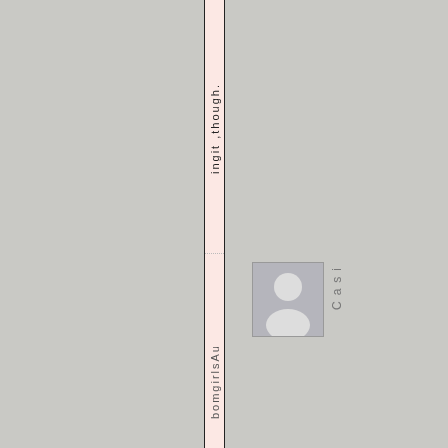ingit ,though.
[Figure (illustration): Generic user/person avatar placeholder icon, grey background with white silhouette of a person]
Casi
bomgirlsAu